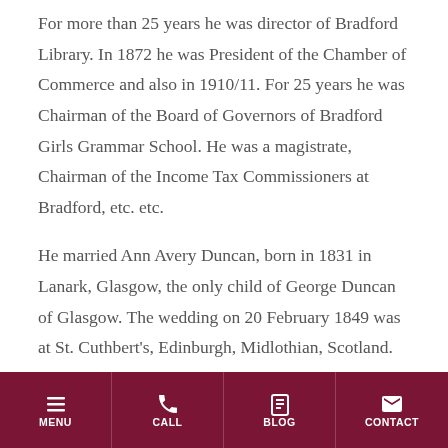For more than 25 years he was director of Bradford Library. In 1872 he was President of the Chamber of Commerce and also in 1910/11. For 25 years he was Chairman of the Board of Governors of Bradford Girls Grammar School. He was a magistrate, Chairman of the Income Tax Commissioners at Bradford, etc. etc.
He married Ann Avery Duncan, born in 1831 in Lanark, Glasgow, the only child of George Duncan of Glasgow. The wedding on 20 February 1849 was at St. Cuthbert's, Edinburgh, Midlothian, Scotland. They had 6 children, 4
MENU  CALL  BLOG  CONTACT